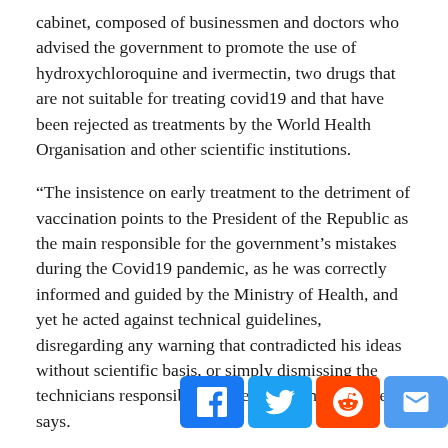cabinet, composed of businessmen and doctors who advised the government to promote the use of hydroxychloroquine and ivermectin, two drugs that are not suitable for treating covid19 and that have been rejected as treatments by the World Health Organisation and other scientific institutions.
“The insistence on early treatment to the detriment of vaccination points to the President of the Republic as the main responsible for the government’s mistakes during the Covid19 pandemic, as he was correctly informed and guided by the Ministry of Health, and yet he acted against technical guidelines, disregarding any warning that contradicted his ideas without scientific basis, or simply dismissing the technicians responsible for these warnings,” the text says.
In April 2020, the president dismissed the then Minister of Health Luis Henrique Mandetta, an advocate of the scientific method, and appointed Nel... a... basi... with... medical... selected 80...